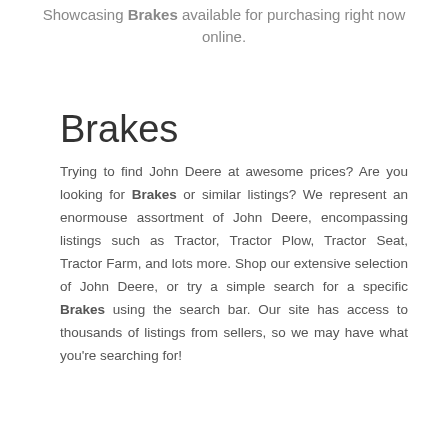Showcasing Brakes available for purchasing right now online.
Brakes
Trying to find John Deere at awesome prices? Are you looking for Brakes or similar listings? We represent an enormouse assortment of John Deere, encompassing listings such as Tractor, Tractor Plow, Tractor Seat, Tractor Farm, and lots more. Shop our extensive selection of John Deere, or try a simple search for a specific Brakes using the search bar. Our site has access to thousands of listings from sellers, so we may have what you're searching for!